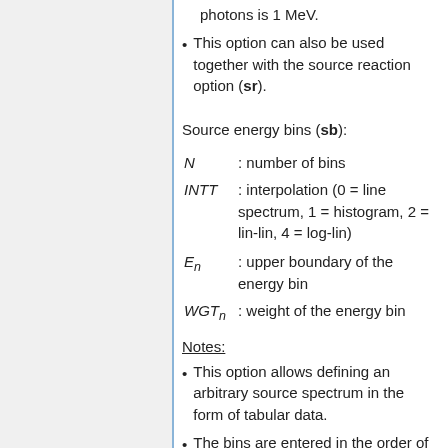photons is 1 MeV.
This option can also be used together with the source reaction option (sr).
Source energy bins (sb):
N : number of bins
INTT : interpolation (0 = line spectrum, 1 = histogram, 2 = lin-lin, 4 = log-lin)
E_n : upper boundary of the energy bin
WGT_n : weight of the energy bin
Notes:
This option allows defining an arbitrary source spectrum in the form of tabular data.
The bins are entered in the order of